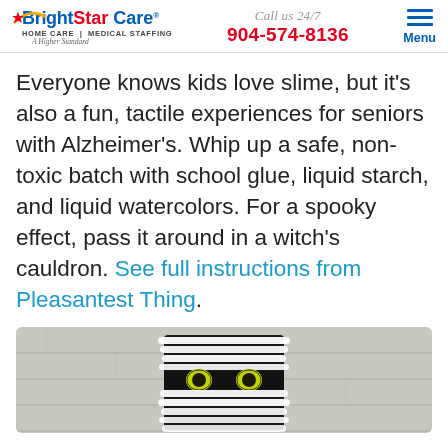BrightStar Care® HOME CARE | MEDICAL STAFFING A Higher Standard — Call us 24/7 904-574-8136 — Menu
Everyone knows kids love slime, but it's also a fun, tactile experiences for seniors with Alzheimer's. Whip up a safe, non-toxic batch with school glue, liquid starch, and liquid watercolors. For a spooky effect, pass it around in a witch's cauldron. See full instructions from Pleasantest Thing.
[Figure (photo): A mummy Halloween craft made from white yarn wrapped around a dark rectangular base, with yellow googly eyes peering out from a gap in the wrapping, set against a light grey wood-plank background.]